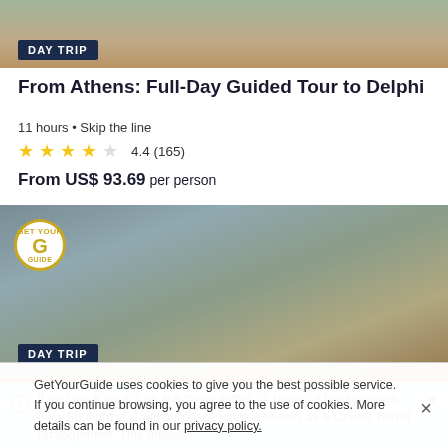[Figure (photo): Top portion of a group tour photo, showing people walking outdoors]
DAY TRIP
From Athens: Full-Day Guided Tour to Delphi
11 hours • Skip the line
4.4 (165)
From US$ 93.69 per person
[Figure (photo): Three women posing together at ancient ruins with mountains in the background, GetYourGuide badge visible]
DAY TRIP
If you book your Tour & Activity within 24 hours of booking your easyJet flight you will purchase what is known as a Linked Travel Arrangement. This means
GetYourGuide uses cookies to give you the best possible service. If you continue browsing, you agree to the use of cookies. More details can be found in our privacy policy.